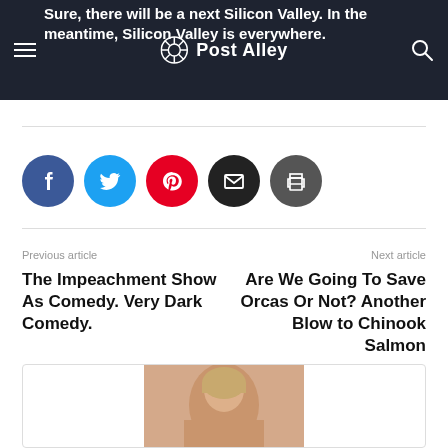Post Alley
Sure, there will be a next Silicon Valley. In the meantime, Silicon Valley is everywhere.
[Figure (infographic): Social sharing buttons: Facebook (blue), Twitter (cyan), Pinterest (red), Email (black), Print (dark gray)]
Previous article
The Impeachment Show As Comedy. Very Dark Comedy.
Next article
Are We Going To Save Orcas Or Not? Another Blow to Chinook Salmon
[Figure (photo): Partial photo of a person at the bottom of the page]